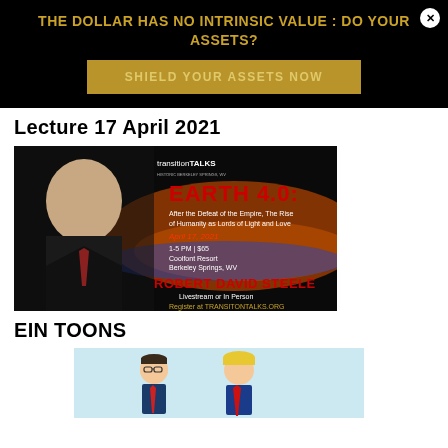[Figure (infographic): Black banner ad: 'THE DOLLAR HAS NO INTRINSIC VALUE : DO YOUR ASSETS?' in gold text with a gold 'SHIELD YOUR ASSETS NOW' button and an X close button]
Lecture 17 April 2021
[Figure (infographic): Event poster for 'transitionTALKS EARTH 4.0: After the Defeat of the Empire, The Rise of Humanity as Lords of Light and Love. April 17, 2021. 1-5 PM | $65. Coolfont Resort, Berkeley Springs, WV. ROBERT DAVID STEELE. Livestream or In Person. Register at TRANSITONTALKS.ORG'. Shows photo of Robert David Steele on left against dark background with orange/blue light streaks.]
EIN TOONS
[Figure (illustration): Cartoon illustration with light blue background showing cartoon characters (appears to include a Trump caricature and another figure)]